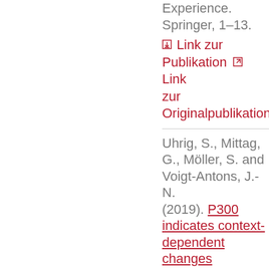Experience. Springer, 1–13.
Link zur Publikation  Link zur Originalpublikation
Uhrig, S., Mittag, G., Möller, S. and Voigt-Antons, J.-N. (2019). P300 indicates context-dependent changes in speech quality beyond